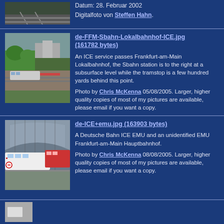Datum: 28. Februar 2002
Digitalfoto von Steffen Hahn.
de-FFM-Sbahn-Lokalbahnhof-ICE.jpg (161782 bytes)
An ICE service passes Frankfurt-am-Main Lokalbahnhof, the Sbahn station is to the right at a subsurface level while the tramstop is a few hundred yards behind this point.
Photo by Chris McKenna 05/08/2005. Larger, higher quality copies of most of my pictures are available, please email if you want a copy.
de-ICE+emu.jpg (163903 bytes)
A Deutsche Bahn ICE EMU and an unidentified EMU Frankfurt-am-Main Hauptbahnhof.
Photo by Chris McKenna 08/08/2005. Larger, higher quality copies of most of my pictures are available, please email if you want a copy.